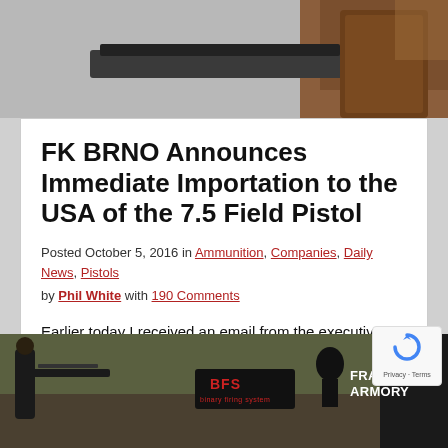[Figure (photo): Partial view of a pistol/firearm at top of page]
FK BRNO Announces Immediate Importation to the USA of the 7.5 Field Pistol
Posted October 5, 2016 in Ammunition, Companies, Daily News, Pistols by Phil White with 190 Comments
Earlier today I received an email from the executive manager of FK BRNO. Mr. Slabke informed me that the ATF had just approved the immediate importation of their 7.5 Field Pistol into the USA. We should see these pistols on store shelves when enough arrive at the [Read More...]
[Figure (photo): Bottom advertisement banner for Franklin Armory / BFS (Binary Firing System), showing a person shooting an AR-style rifle on a range with military-style crates in background]